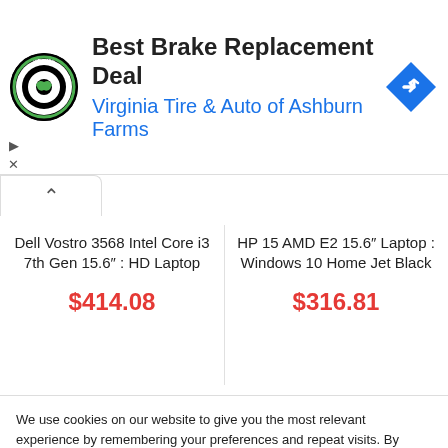[Figure (logo): Virginia Tire & Auto circular logo with tire and auto service imagery]
Best Brake Replacement Deal
Virginia Tire & Auto of Ashburn Farms
[Figure (illustration): Blue diamond-shaped navigation/directions icon with right-turn arrow]
Dell Vostro 3568 Intel Core i3 7th Gen 15.6” : HD Laptop
$414.08
HP 15 AMD E2 15.6” Laptop : Windows 10 Home Jet Black
$316.81
We use cookies on our website to give you the most relevant experience by remembering your preferences and repeat visits. By clicking “Accept”, you consent to the use of ALL the cookies.
Do not sell my personal information.
Cookie settings
ACCEPT